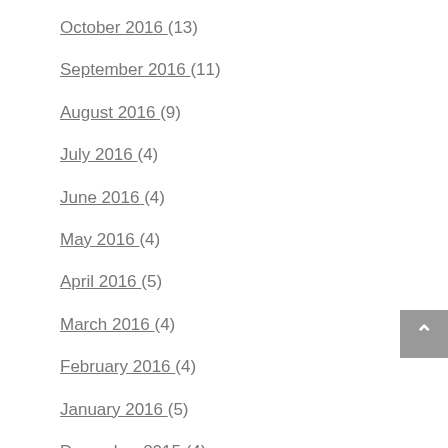October 2016 (13)
September 2016 (11)
August 2016 (9)
July 2016 (4)
June 2016 (4)
May 2016 (4)
April 2016 (5)
March 2016 (4)
February 2016 (4)
January 2016 (5)
December 2015 (4)
November 2015 (5)